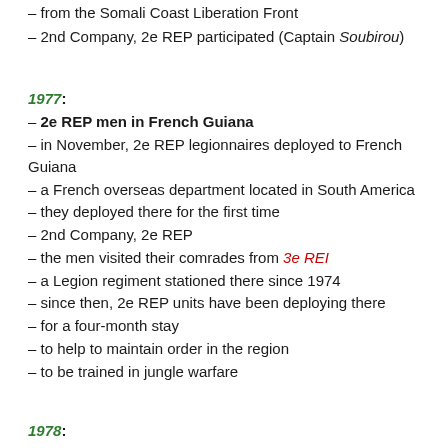– from the Somali Coast Liberation Front
– 2nd Company, 2e REP participated (Captain Soubirou)
1977:
– 2e REP men in French Guiana
– in November, 2e REP legionnaires deployed to French Guiana
– a French overseas department located in South America
– they deployed there for the first time
– 2nd Company, 2e REP
– the men visited their comrades from 3e REI
– a Legion regiment stationed there since 1974
– since then, 2e REP units have been deploying there
– for a four-month stay
– to help to maintain order in the region
– to be trained in jungle warfare
1978: